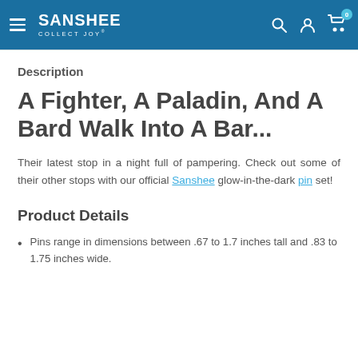SANSHEE COLLECT JOY — navigation header with search, account, cart icons
Description
A Fighter, A Paladin, And A Bard Walk Into A Bar...
Their latest stop in a night full of pampering. Check out some of their other stops with our official Sanshee glow-in-the-dark pin set!
Product Details
Pins range in dimensions between .67 to 1.7 inches tall and .83 to 1.75 inches wide.